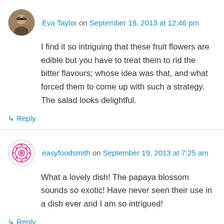Eva Taylor on September 18, 2013 at 12:46 pm
I find it so intriguing that these fruit flowers are edible but you have to treat them to rid the bitter flavours; whose idea was that, and what forced them to come up with such a strategy. The salad looks delightful.
↳ Reply
easyfoodsmith on September 19, 2013 at 7:25 am
What a lovely dish! The papaya blossom sounds so exotic! Have never seen their use in a dish ever and I am so intrigued!
↳ Reply